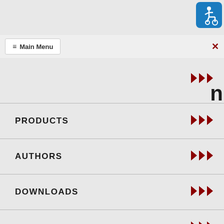[Figure (logo): Accessibility icon - blue rounded square with wheelchair user pictogram]
≡ Main Menu
PRODUCTS >>>
AUTHORS >>>
DOWNLOADS >>>
CATEGORIES >>>